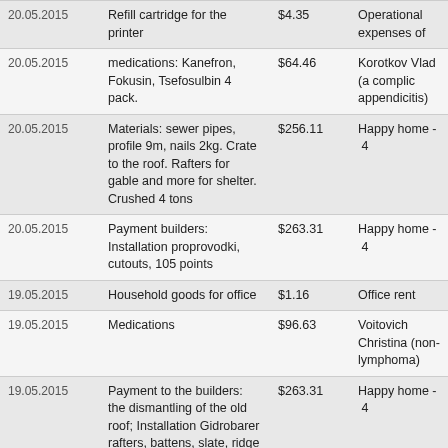| Date | Description | Amount | Category |
| --- | --- | --- | --- |
| 20.05.2015 | Refill cartridge for the printer | $4.35 | Operational expenses of |
| 20.05.2015 | medications: Kanefron, Fokusin, Tsefosulbin 4 pack. | $64.46 | Korotkov Vlad (a complic appendicitis) |
| 20.05.2015 | Materials: sewer pipes, profile 9m, nails 2kg. Crate to the roof. Rafters for gable and more for shelter. Crushed 4 tons | $256.11 | Happy home - 4 |
| 20.05.2015 | Payment builders: Installation proprovodki, cutouts, 105 points | $263.31 | Happy home - 4 |
| 19.05.2015 | Household goods for office | $1.16 | Office rent |
| 19.05.2015 | Medications | $96.63 | Voitovich Christina (non-lymphoma) |
| 19.05.2015 | Payment to the builders: the dismantling of the old roof; Installation Gidrobarer rafters, battens, slate, ridge ognebiozaschita (29.5 m?); Rearing overhang rafters for | $263.31 | Happy home - 4 |